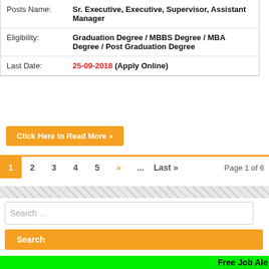| Field | Value |
| --- | --- |
| Posts Name: | Sr. Executive, Executive, Supervisor, Assistant Manager |
| Eligibility: | Graduation Degree / MBBS Degree / MBA Degree / Post Graduation Degree |
| Last Date: | 25-09-2018 (Apply Online) |
Click Here to Read More »
1 2 3 4 5 » ... Last » Page 1 of 6
Search …
Search
RECENT POSTS
Free Job Ale